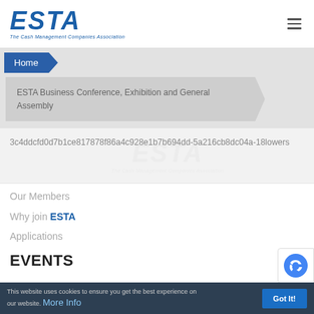[Figure (logo): ESTA logo - The Cash Management Companies Association, blue bold italic text]
Home
ESTA Business Conference, Exhibition and General Assembly
3c4ddcfd0d7b1ce817878f86a4c928e1b7b694dd-5a216cb8dc04a-18lowers
Our Members
Why join ESTA
Applications
EVENTS
This website uses cookies to ensure you get the best experience on our website. More Info